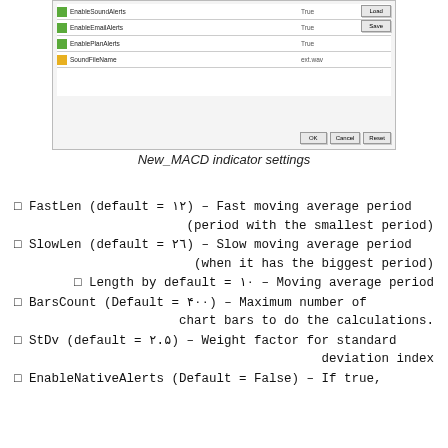[Figure (screenshot): Settings dialog screenshot showing configuration rows: EnableSoundAlerts (True), EnableEmailAlerts (True), EnablePlanAlerts (True), SoundFileName (ext.wav), with Load, Save, OK, Cancel, Reset buttons]
New_MACD indicator settings
□ FastLen (default = ١٢) – Fast moving average period (period with the smallest period)
□ SlowLen (default = ٢٦) – Slow moving average period (when it has the biggest period)
□ Length by default = ١٠ – Moving average period
□ BarsCount (Default = ۴٠٠) – Maximum number of chart bars to do the calculations.
□ StDv (default = ٢.۵) – Weight factor for standard deviation index
□ EnableNativeAlerts (Default = False) – If true,